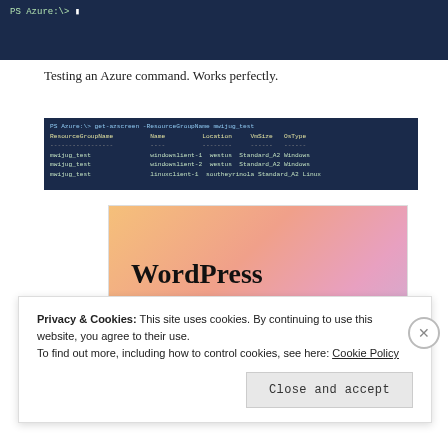[Figure (screenshot): Terminal window showing PowerShell Azure prompt with green text 'PS Azure:\> []' on dark navy background]
Testing an Azure command. Works perfectly.
[Figure (screenshot): Terminal/PowerShell window showing output of get-azscreen command with ResourceGroupName, Name, Location, VmSize, OsType, NIC ProvisioningState columns and rows for mwijug test entries with Succeeded status]
[Figure (screenshot): WordPress advertisement image with colorful gradient background (orange, pink, purple) showing bold text 'WordPress in the back.' with WP logo partially visible at bottom]
Privacy & Cookies: This site uses cookies. By continuing to use this website, you agree to their use.
To find out more, including how to control cookies, see here: Cookie Policy